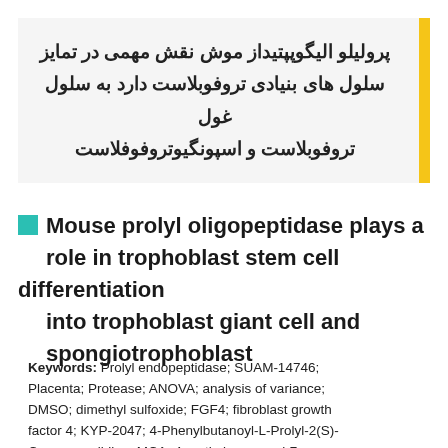پرولیلو الیگوپپتیداز موش نقش مهمی در تمایز سلول های بنیادی تروفوبلاست دارد به سلول غول تروفوبلاست و اسپونگیوتروفوفلاست
Mouse prolyl oligopeptidase plays a role in trophoblast stem cell differentiation into trophoblast giant cell and spongiotrophoblast
Keywords: Prolyl endopeptidase; SUAM-14746; Placenta; Protease; ANOVA; analysis of variance; DMSO; dimethyl sulfoxide; FGF4; fibroblast growth factor 4; KYP-2047; 4-Phenylbutanoyl-L-Prolyl-2(S)-Cyanopyrrolidine; MCA; 4-methyl-coumaryl-7-amide; MTT; 3-(4,5-dimethylt...